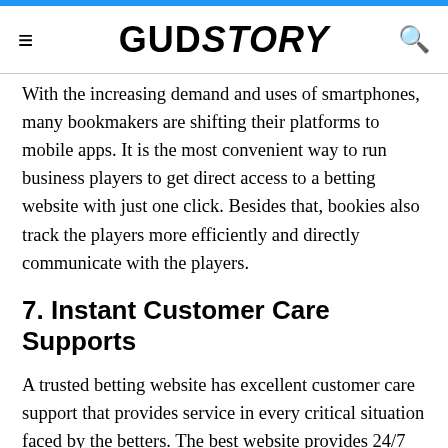GUDSTORY
With the increasing demand and uses of smartphones, many bookmakers are shifting their platforms to mobile apps. It is the most convenient way to run business players to get direct access to a betting website with just one click. Besides that, bookies also track the players more efficiently and directly communicate with the players.
7. Instant Customer Care Supports
A trusted betting website has excellent customer care support that provides service in every critical situation faced by the betters. The best website provides 24/7 customer support with multiple modes to communicate with the customers like chat, email,